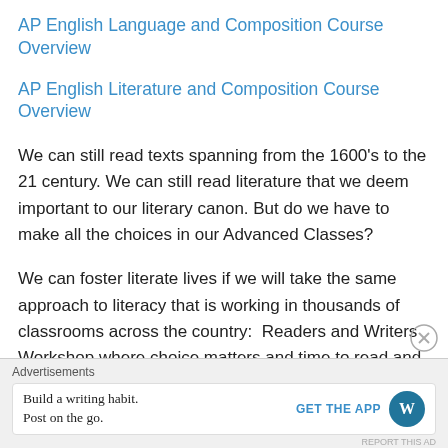AP English Language and Composition Course Overview
AP English Literature and Composition Course Overview
We can still read texts spanning from the 1600's to the 21 century. We can still read literature that we deem important to our literary canon. But do we have to make all the choices in our Advanced Classes?
We can foster literate lives if we will take the same approach to literacy that is working in thousands of classrooms across the country:  Readers and Writers Workshop where choice matters and time to read and write mean deep and lasting learning.
Advertisements
Build a writing habit. Post on the go.
GET THE APP